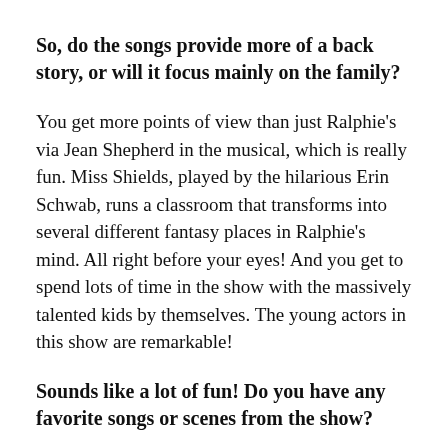So, do the songs provide more of a back story, or will it focus mainly on the family?
You get more points of view than just Ralphie's via Jean Shepherd in the musical, which is really fun. Miss Shields, played by the hilarious Erin Schwab, runs a classroom that transforms into several different fantasy places in Ralphie's mind. All right before your eyes! And you get to spend lots of time in the show with the massively talented kids by themselves. The young actors in this show are remarkable!
Sounds like a lot of fun! Do you have any favorite songs or scenes from the show?